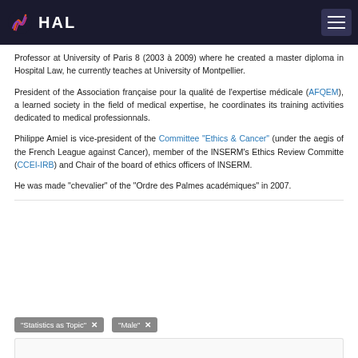HAL
Professor at University of Paris 8 (2003 à 2009) where he created a master diploma in Hospital Law, he currently teaches at University of Montpellier.
President of the Association française pour la qualité de l'expertise médicale (AFQEM), a learned society in the field of medical expertise, he coordinates its training activities dedicated to medical professionnals.
Philippe Amiel is vice-president of the Committee "Ethics & Cancer" (under the aegis of the French League against Cancer), member of the INSERM's Ethics Review Committe (CCEI-IRB) and Chair of the board of ethics officers of INSERM.
He was made "chevalier" of the "Ordre des Palmes académiques" in 2007.
"Statistics as Topic"   "Male"